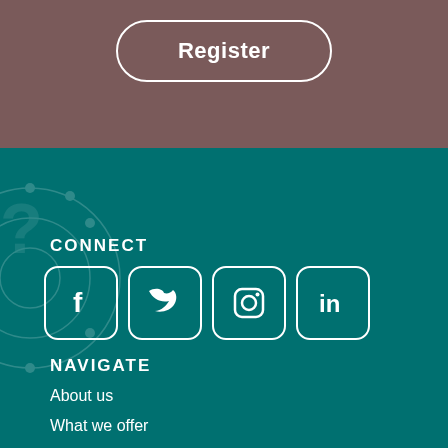[Figure (other): Register button with rounded pill-shaped white border on mauve/dusty rose background]
CONNECT
[Figure (infographic): Social media icons for Facebook, Twitter, Instagram, and LinkedIn in white rounded square borders on teal background]
NAVIGATE
About us
What we offer
Careers
Content hub